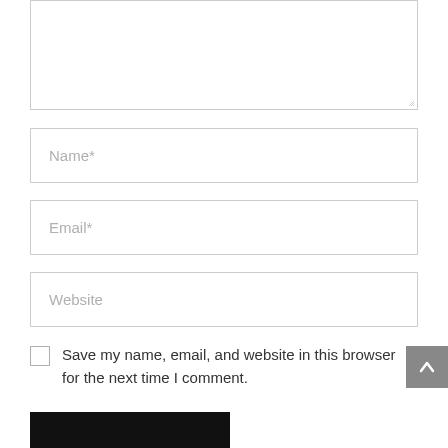[Figure (screenshot): Textarea input box (comment field), partially shown at top of page]
Name*
Email*
Website
Save my name, email, and website in this browser for the next time I comment.
[Figure (screenshot): Black submit button at bottom left]
[Figure (screenshot): Grey scroll-to-top button with upward arrow at right side]